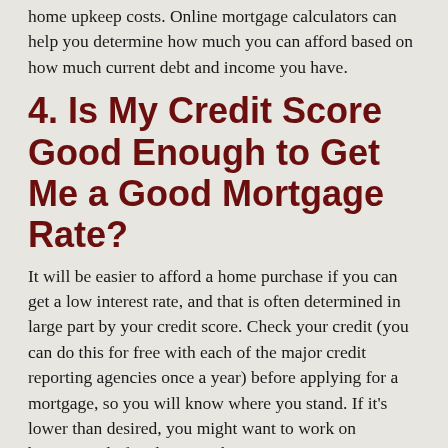home upkeep costs. Online mortgage calculators can help you determine how much you can afford based on how much current debt and income you have.
4. Is My Credit Score Good Enough to Get Me a Good Mortgage Rate?
It will be easier to afford a home purchase if you can get a low interest rate, and that is often determined in large part by your credit score. Check your credit (you can do this for free with each of the major credit reporting agencies once a year) before applying for a mortgage, so you will know where you stand. If it's lower than desired, you might want to work on boosting it before buying a home.
5. Do I Need a Mortgage Pre-Approval?
The answer is always yes. Before you start shopping for homes, get pre-approved with a lender. This authorization